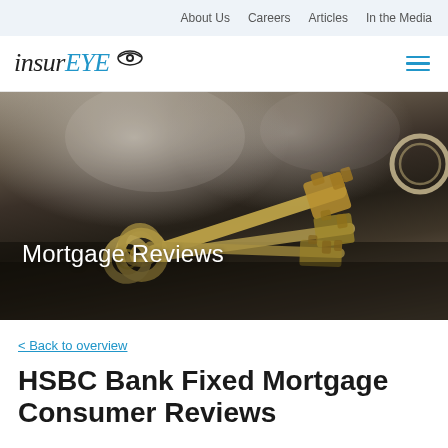About Us  Careers  Articles  In the Media
[Figure (logo): InsurEYE logo with eye icon, italic serif/sans mix, 'insur' in black italic and 'EYE' in blue with eye graphic]
[Figure (photo): Hero banner photo of a set of house/car keys on a dark surface with blurred background, with overlaid text 'Mortgage Reviews']
< Back to overview
HSBC Bank Fixed Mortgage Consumer Reviews